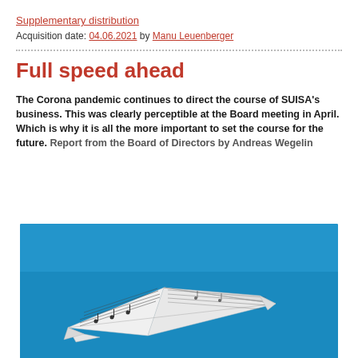Supplementary distribution
Acquisition date: 04.06.2021 by Manu Leuenberger
Full speed ahead
The Corona pandemic continues to direct the course of SUISA’s business. This was clearly perceptible at the Board meeting in April. Which is why it is all the more important to set the course for the future. Report from the Board of Directors by Andreas Wegelin
[Figure (photo): A paper airplane made from sheet music flying against a bright blue sky background]